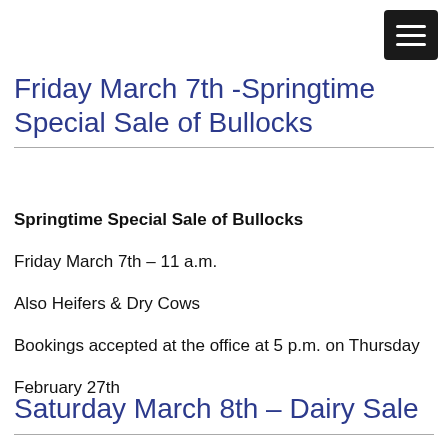[Figure (other): Hamburger menu icon button — three white horizontal lines on a dark background square]
Friday March 7th -Springtime Special Sale of Bullocks
Springtime Special Sale of Bullocks
Friday March 7th – 11 a.m.
Also Heifers & Dry Cows
Bookings accepted at the office at 5 p.m. on Thursday
February 27th
Saturday March 8th – Dairy Sale